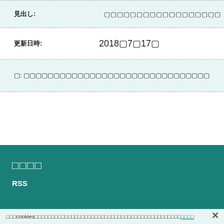見出し: [placeholder text with Japanese characters]
更新日時: 2018年7月17日
?: [placeholder Japanese text content]
関連情報
RSS
当サイトcookies[Japanese cookie notice text] 詳細情報